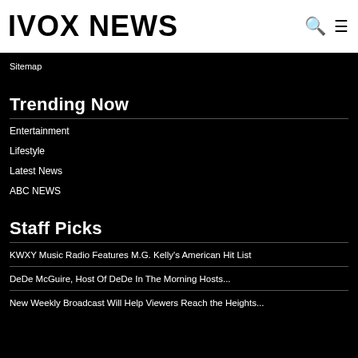IVOX NEWS
Sitemap
Trending Now
Entertainment
Lifestyle
Latest News
ABC NEWS
Staff Picks
KWXY Music Radio Features M.G. Kelly's American Hit List
DeDe McGuire, Host Of DeDe In The Morning Hosts...
New Weekly Broadcast Will Help Viewers Reach the Heights...